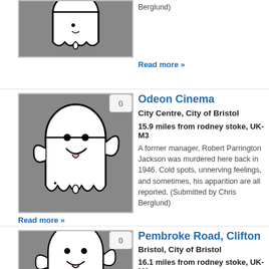[Figure (illustration): Ghost illustration on grey background - partial top listing image]
Berglund)
Read more »
[Figure (illustration): Ghost cartoon illustration on grey background with 0 badge]
Odeon Cinema
City Centre, City of Bristol
15.9 miles from rodney stoke, UK-M3
A former manager, Robert Parrington Jackson was murdered here back in 1946. Cold spots, unnerving feelings, and sometimes, his apparition are all reported. (Submitted by Chris Berglund)
Read more »
[Figure (illustration): Ghost cartoon illustration on grey background with 0 badge - Pembroke Road listing]
Pembroke Road, Clifton
Bristol, City of Bristol
16.1 miles from rodney stoke, UK-M3
This street used to be used as a gallows. Two
[Figure (screenshot): BitLife advertisement banner - NOW WITH GOD MODE]